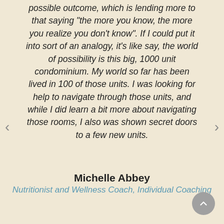possible outcome, which is lending more to that saying "the more you know, the more you realize you don't know". If I could put it into sort of an analogy, it's like say, the world of possibility is this big, 1000 unit condominium. My world so far has been lived in 100 of those units. I was looking for help to navigate through those units, and while I did learn a bit more about navigating those rooms, I also was shown secret doors to a few new units.
Michelle Abbey
Nutritionist and Wellness Coach, Individual Coaching